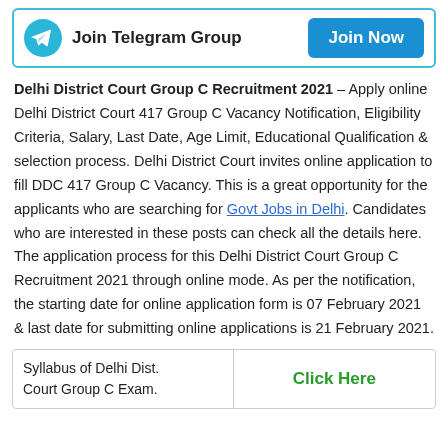[Figure (infographic): Join Telegram Group banner with Telegram icon on the left, bold text 'Join Telegram Group', and a blue 'Join Now' button on the right, bordered with teal outline.]
Delhi District Court Group C Recruitment 2021 – Apply online Delhi District Court 417 Group C Vacancy Notification, Eligibility Criteria, Salary, Last Date, Age Limit, Educational Qualification & selection process. Delhi District Court invites online application to fill DDC 417 Group C Vacancy. This is a great opportunity for the applicants who are searching for Govt Jobs in Delhi. Candidates who are interested in these posts can check all the details here. The application process for this Delhi District Court Group C Recruitment 2021 through online mode. As per the notification, the starting date for online application form is 07 February 2021 & last date for submitting online applications is 21 February 2021.
| Syllabus of Delhi Dist. Court Group C Exam. | Click Here |
| --- | --- |